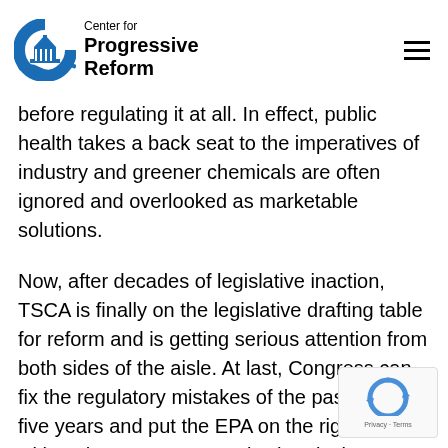Center for Progressive Reform
before regulating it at all. In effect, public health takes a back seat to the imperatives of industry and greener chemicals are often ignored and overlooked as marketable solutions.
Now, after decades of legislative inaction, TSCA is finally on the legislative drafting table for reform and is getting serious attention from both sides of the aisle. At last, Congress can fix the regulatory mistakes of the past thirty-five years and put the EPA on the right path with a shot at stronger toxic chemical regulations.
But the current 250-page amendments to the latest TSCA bill not only ignore the glaring